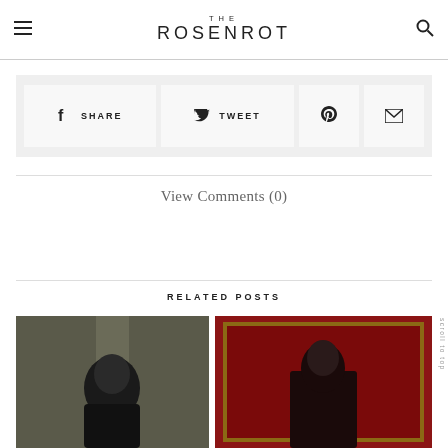THE ROSENROT
SHARE | TWEET | (Pinterest icon) | (Email icon)
View Comments (0)
RELATED POSTS
[Figure (photo): Left thumbnail: person with dark hair against grey curtain background]
[Figure (photo): Right thumbnail: figure with dark hair against dark red background with golden frame]